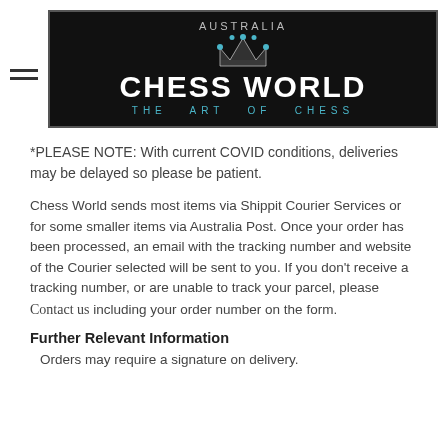[Figure (logo): Chess World Australia logo: black background with crown icon, white bold text 'CHESS WORLD', teal subtitle 'THE ART OF CHESS', and 'AUSTRALIA' text above]
*PLEASE NOTE: With current COVID conditions, deliveries may be delayed so please be patient.
Chess World sends most items via Shippit Courier Services or for some smaller items via Australia Post. Once your order has been processed, an email with the tracking number and website of the Courier selected will be sent to you. If you don't receive a tracking number, or are unable to track your parcel, please Contact us including your order number on the form.
Further Relevant Information
Orders may require a signature on delivery.